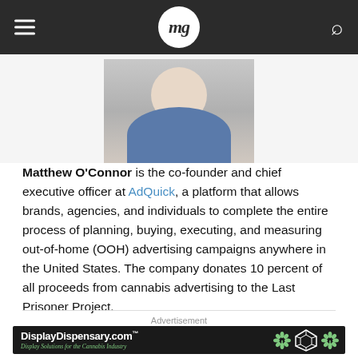mg — magazine logo header with hamburger menu and search icon
[Figure (photo): Headshot photo of Matthew O'Connor, a young man wearing a blue shirt, light background]
Matthew O'Connor is the co-founder and chief executive officer at AdQuick, a platform that allows brands, agencies, and individuals to complete the entire process of planning, buying, executing, and measuring out-of-home (OOH) advertising campaigns anywhere in the United States. The company donates 10 percent of all proceeds from cannabis advertising to the Last Prisoner Project.
Advertisement
[Figure (other): DisplayDispensary.com advertisement banner — Display Solutions for the Cannabis Industry, with cannabis leaf graphics and a 3D box icon]